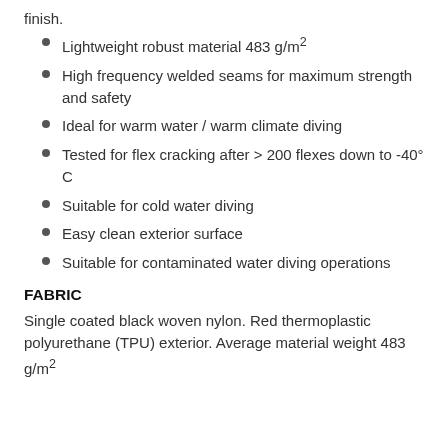finish.
Lightweight robust material 483 g/m²
High frequency welded seams for maximum strength and safety
Ideal for warm water / warm climate diving
Tested for flex cracking after > 200 flexes down to -40° C
Suitable for cold water diving
Easy clean exterior surface
Suitable for contaminated water diving operations
FABRIC
Single coated black woven nylon. Red thermoplastic polyurethane (TPU) exterior. Average material weight 483 g/m²